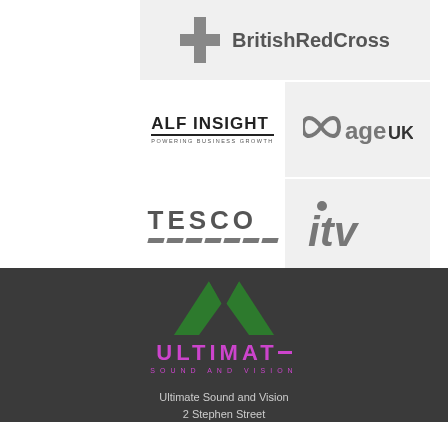[Figure (logo): British Red Cross logo with grey cross and bold text]
[Figure (logo): ALF INSIGHT - Powering Business Growth logo]
[Figure (logo): Age UK logo with infinity symbol]
[Figure (logo): Tesco logo with diagonal stripes]
[Figure (logo): ITV logo in dark grey italic]
[Figure (logo): Ultimate Sound and Vision logo with green chevron on dark background]
Ultimate Sound and Vision
2 Stephen Street